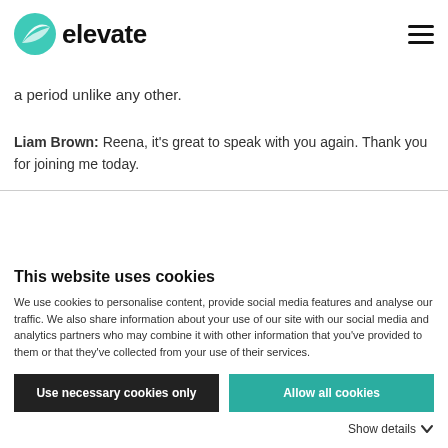[Figure (logo): Elevate logo with teal circular icon and 'elevate' wordmark in bold black, plus hamburger menu icon on the right]
a period unlike any other.
Liam Brown: Reena, it's great to speak with you again. Thank you for joining me today.
This website uses cookies
We use cookies to personalise content, provide social media features and analyse our traffic. We also share information about your use of our site with our social media and analytics partners who may combine it with other information that you've provided to them or that they've collected from your use of their services.
Use necessary cookies only
Allow all cookies
Show details